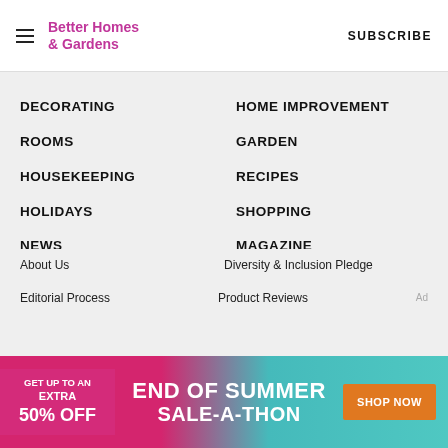Better Homes & Gardens | SUBSCRIBE
DECORATING
HOME IMPROVEMENT
ROOMS
GARDEN
HOUSEKEEPING
RECIPES
HOLIDAYS
SHOPPING
NEWS
MAGAZINE
REAL ESTATE
About Us
Diversity & Inclusion Pledge
Editorial Process
Product Reviews
[Figure (infographic): Advertisement banner: GET UP TO AN EXTRA 50% OFF - END OF SUMMER SALE-A-THON - SHOP NOW]